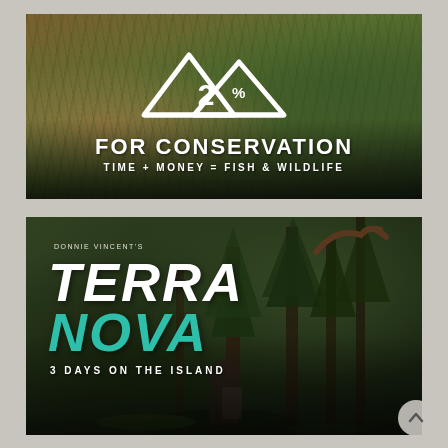[Figure (photo): Top banner image with outdoor/nature background (grass, wooden structures), overlaid with white mountain/triangle logo containing '2%' and text 'FOR CONSERVATION' and 'TIME + MONEY = FISH & WILDLIFE' in white]
[Figure (photo): Bottom banner image showing a hunter with backpack carrying large elk/moose antlers walking through a forest. Overlaid with text: 'DONNIE VINCENT'S', 'TERRA' in white, 'NOVA' in teal/turquoise, '3 DAYS ON THE ISLAND']